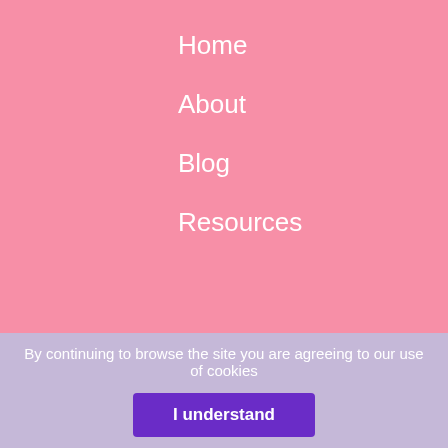Home
About
Blog
Resources
LEGAL
Privacy policy
Terms & Conditions
Canadian Residents, GST/HST
By continuing to browse the site you are agreeing to our use of cookies
I understand